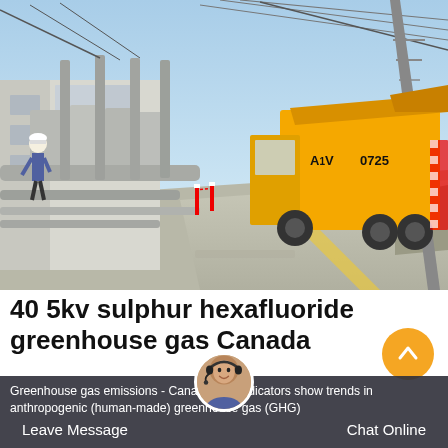[Figure (photo): Electrical substation with large grey transformers and piping on the left, a yellow service truck (marked A1V 0725) driving on a concrete road in the center-right, power lines overhead, and a worker in a white hard hat visible on the left side.]
40 5kv sulphur hexafluoride greenhouse gas Canada
Greenhouse gas emissions - Canada The indicators show trends in anthropogenic (human-made) greenhouse gas (GHG)
Leave Message
Chat Online